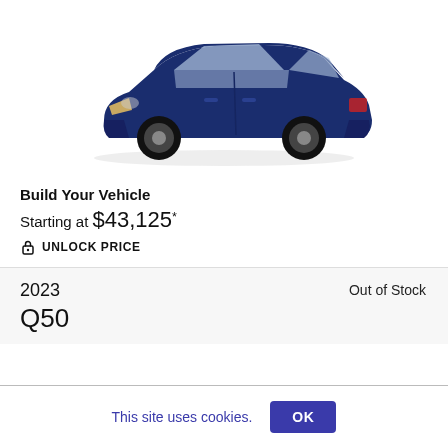[Figure (photo): Dark navy blue Infiniti Q50 sedan photographed from a front three-quarter angle against a white background]
Build Your Vehicle
Starting at $43,125*
UNLOCK PRICE
Out of Stock
2023
Q50
This site uses cookies.  OK